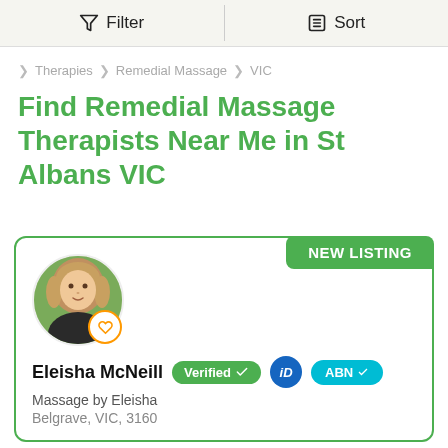Filter  |  Sort
Therapies > Remedial Massage > VIC
Find Remedial Massage Therapists Near Me in St Albans VIC
[Figure (photo): NEW LISTING badge above a listing card. Card contains a circular profile photo of a woman, a heart icon badge, the name Eleisha McNeill with Verified, iD, and ABN badges, business name Massage by Eleisha, and location Belgrave, VIC, 3160.]